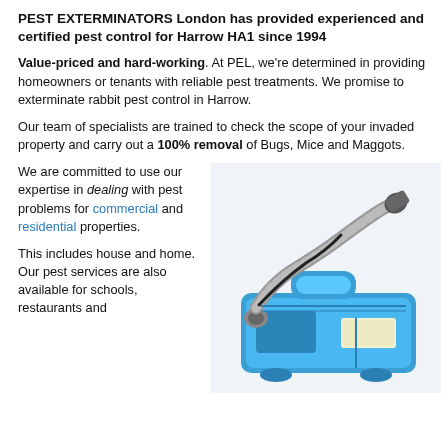PEST EXTERMINATORS London has provided experienced and certified pest control for Harrow HA1 since 1994
Value-priced and hard-working. At PEL, we're determined in providing homeowners or tenants with reliable pest treatments. We promise to exterminate rabbit pest control in Harrow.
Our team of specialists are trained to check the scope of your invaded property and carry out a 100% removal of Bugs, Mice and Maggots.
We are committed to use our expertise in dealing with pest problems for commercial and residential properties.
[Figure (photo): A blue pest control fogging/fumigation machine with a grey flexible hose and spray nozzle attachment]
This includes house and home. Our pest services are also available for schools, restaurants and